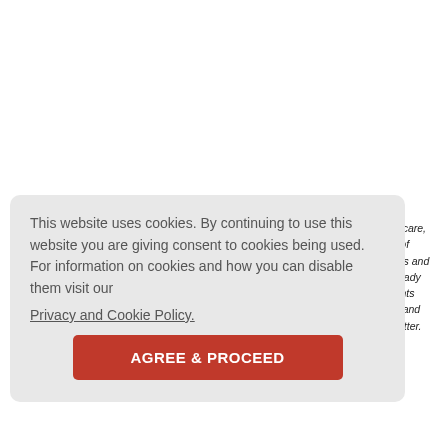When the analysis concludes by stating that health of the country and its economy care, we need to realize that share market remained bullish in the duration of the arrival of variants. Nevertheless, principles of equity should guide us on our future path. Ways and means need to be devised to put the table of all. While the virus sharpened the already existing inequities between of a better tomorrow, an equitable and just world. Variants fuel the common knowledge, but they emerge in an atmosphere of marginalization and be realized soon and the divide needs to be obliterated so that fruits of globalization matter. Credit to IME IAMI or something that the author...
This website uses cookies. By continuing to use this website you are giving consent to cookies being used. For information on cookies and how you can disable them visit our Privacy and Cookie Policy.
AGREE & PROCEED